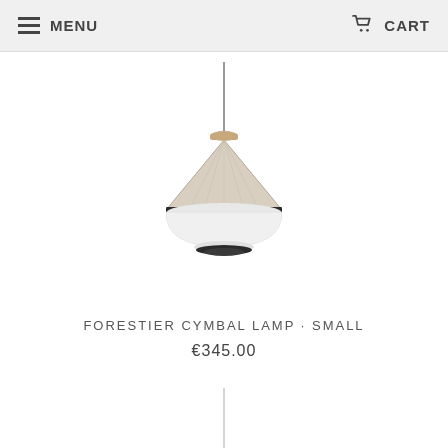MENU   CART
[Figure (photo): Forestier Cymbal pendant lamp - small, shown hanging from a thin cord. The lamp has a wide conical shade in beige/cream fabric on top with a dark rim and a white dome-shaped lower diffuser, styled in a modern minimalist design.]
FORESTIER CYMBAL LAMP · SMALL
€345.00